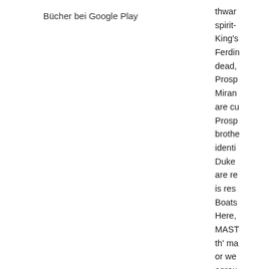Bücher bei Google Play
thwar
spirit-
King's
Ferdin
dead,
Prosp
Miran
are cu
Prosp
brothe
identi
Duke
are re
is res
Boats
Here,
MAST
th' ma
or we
agrou
[Exit]
MARI
Heigh